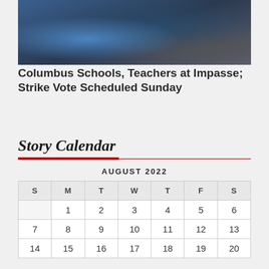[Figure (photo): Photograph of people, partially visible, showing blue patterned clothing and dark jackets]
Columbus Schools, Teachers at Impasse; Strike Vote Scheduled Sunday
Story Calendar
| S | M | T | W | T | F | S |
| --- | --- | --- | --- | --- | --- | --- |
|  | 1 | 2 | 3 | 4 | 5 | 6 |
| 7 | 8 | 9 | 10 | 11 | 12 | 13 |
| 14 | 15 | 16 | 17 | 18 | 19 | 20 |